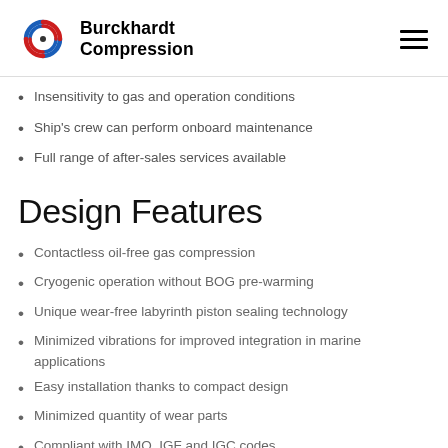Burckhardt Compression
Insensitivity to gas and operation conditions
Ship's crew can perform onboard maintenance
Full range of after-sales services available
Design Features
Contactless oil-free gas compression
Cryogenic operation without BOG pre-warming
Unique wear-free labyrinth piston sealing technology
Minimized vibrations for improved integration in marine applications
Easy installation thanks to compact design
Minimized quantity of wear parts
Compliant with IMO, IGF and IGC codes
Designed according to marine standards